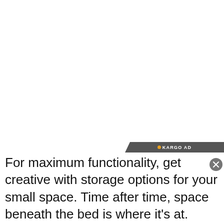Pinterest logo
[Figure (other): Large white/blank image area occupying most of the upper portion of the page]
For maximum functionality, get creative with storage options for your small space. Time after time, space beneath the bed is where it's at. Here, bookshelves on wheels slide open to create a top-secret storage area under this custom lofted bed.